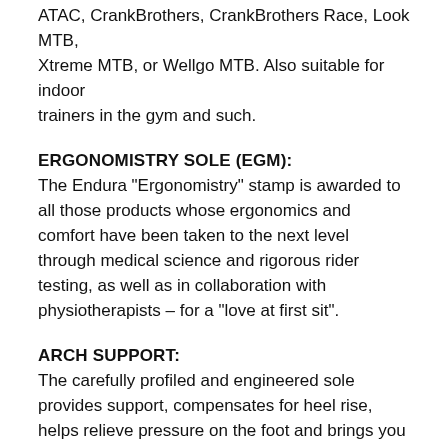ATAC, CrankBrothers, CrankBrothers Race, Look MTB, Xtreme MTB, or Wellgo MTB. Also suitable for indoor trainers in the gym and such.
ERGONOMISTRY SOLE (EGM):
The Endura "Ergonomistry" stamp is awarded to all those products whose ergonomics and comfort have been taken to the next level through medical science and rigorous rider testing, as well as in collaboration with physiotherapists – for a "love at first sit".
ARCH SUPPORT:
The carefully profiled and engineered sole provides support, compensates for heel rise, helps relieve pressure on the foot and brings you more direct transmission and comfort when walking and riding.
METATARSAL BUTTON:
The sole midfoot button is a slight elevation in the sole and,